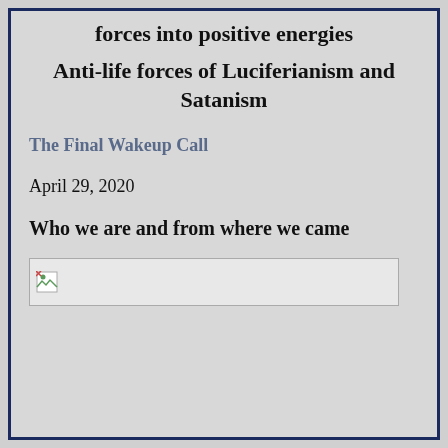forces into positive energies
Anti-life forces of Luciferianism and Satanism
The Final Wakeup Call
April 29, 2020
Who we are and from where we came
[Figure (photo): Broken image placeholder, a small icon visible at top-left of a rectangular image container]